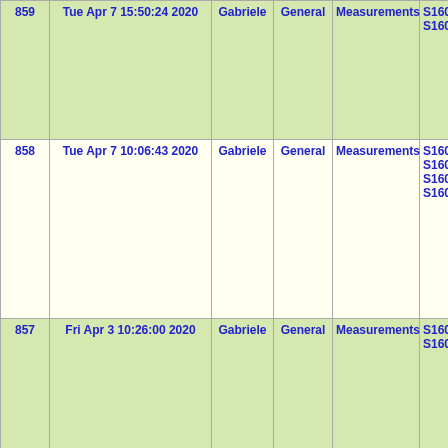| ID | Date | User | Category | Type | Signals | Notes |
| --- | --- | --- | --- | --- | --- | --- |
| 859 | Tue Apr 7 15:50:24 2020 | Gabriele | General | Measurements | S1600785
S1600789 | 3:5
cha
S16
S16
in
3:5 |
| 858 | Tue Apr 7 10:06:43 2020 | Gabriele | General | Measurements | S1600775
S1600784
S1600788
S1600791 | 202
10:
in
S16
S16
in
S16
S16 |
| 857 | Fri Apr 3 10:26:00 2020 | Gabriele | General | Measurements | S1600775
S1600788 | 202
10:
in
S16
S16
in
10: |
|  |  |  |  |  | S1600784 | 202
2:0 |